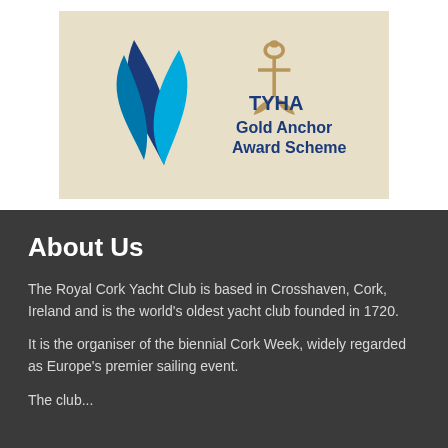[Figure (logo): TYHA Gold Anchor Award Scheme logo with blue sail/leaf shapes on left and gold anchor icon above text on right, on a beige/tan background]
About Us
The Royal Cork Yacht Club is based in Crosshaven, Cork, Ireland and is the world's oldest yacht club founded in 1720.
It is the organiser of the biennial Cork Week, widely regarded as Europe's premier sailing event.
The club...